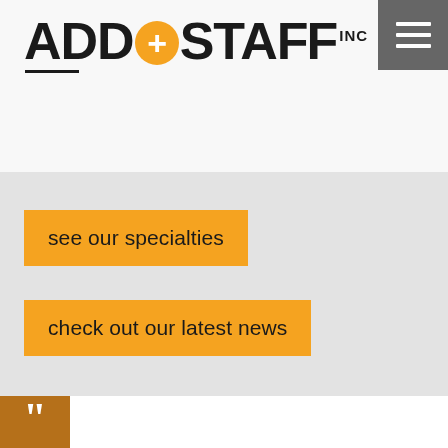[Figure (logo): ADD+STAFF INC logo with orange plus sign circle]
see our specialties
check out our latest news
WHAT PEOPLE ARE SAYING ABOUT OUR TEMP AGENCY IN COLORADO SPRINGS
[Figure (other): Orange square with large opening double quotation mark in white]